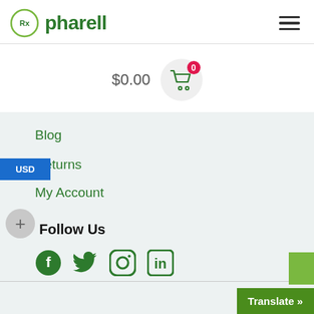[Figure (logo): Pharell pharmacy logo with Rx symbol in green circle and green text 'pharell']
[Figure (illustration): Hamburger menu icon (three horizontal lines)]
$0.00
[Figure (illustration): Shopping cart icon in a light gray circle with red badge showing '0']
Blog
Returns
My Account
USD
Follow Us
[Figure (illustration): Social media icons: Facebook, Twitter, Instagram, LinkedIn in green]
Translate »